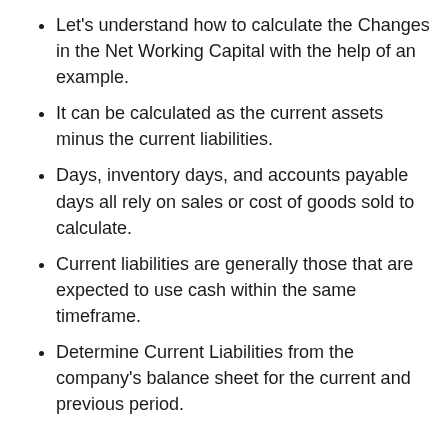Let's understand how to calculate the Changes in the Net Working Capital with the help of an example.
It can be calculated as the current assets minus the current liabilities.
Days, inventory days, and accounts payable days all rely on sales or cost of goods sold to calculate.
Current liabilities are generally those that are expected to use cash within the same timeframe.
Determine Current Liabilities from the company's balance sheet for the current and previous period.
A statement of changes refers to relevant alterations in profits, policies, improvements,